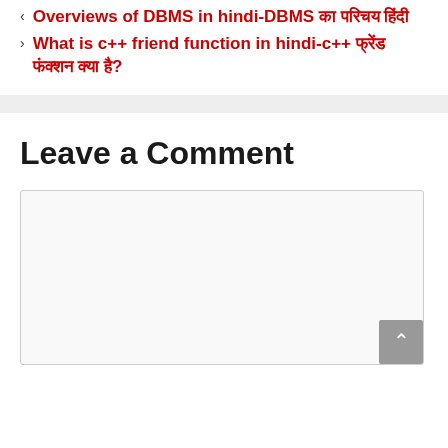Overviews of DBMS in hindi-DBMS का परिचय हिंदी
What is c++ friend function in hindi-c++ फ्रेंड फंक्शन क्या है?
Leave a Comment